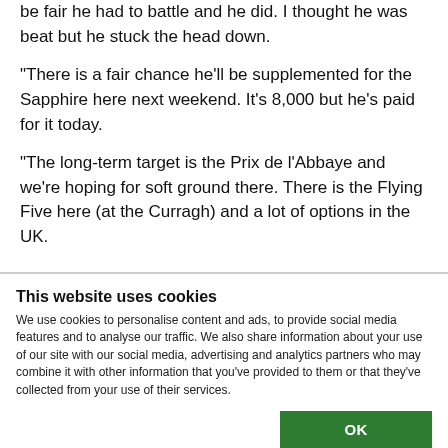be fair he had to battle and he did. I thought he was beat but he stuck the head down.
"There is a fair chance he'll be supplemented for the Sapphire here next weekend. It's 8,000 but he's paid for it today.
"The long-term target is the Prix de l'Abbaye and we're hoping for soft ground there. There is the Flying Five here (at the Curragh) and a lot of options in the UK.
This website uses cookies
We use cookies to personalise content and ads, to provide social media features and to analyse our traffic. We also share information about your use of our site with our social media, advertising and analytics partners who may combine it with other information that you've provided to them or that they've collected from your use of their services.